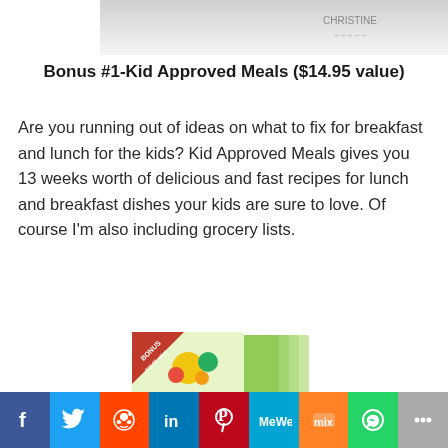[Figure (illustration): Partial image of a book or product at the top of the page, cropped]
Bonus #1-Kid Approved Meals ($14.95 value)
Are you running out of ideas on what to fix for breakfast and lunch for the kids? Kid Approved Meals gives you 13 weeks worth of delicious and fast recipes for lunch and breakfast dishes your kids are sure to love. Of course I'm also including grocery lists.
[Figure (illustration): Book set cover for 'The Smart Mom Library' with colorful fruits and vegetables on the cover, showing multiple stacked books]
[Figure (infographic): Social media sharing bar with icons for Facebook, Twitter, Reddit, LinkedIn, Pinterest, MeWe, Mix, WhatsApp, and More/Share]